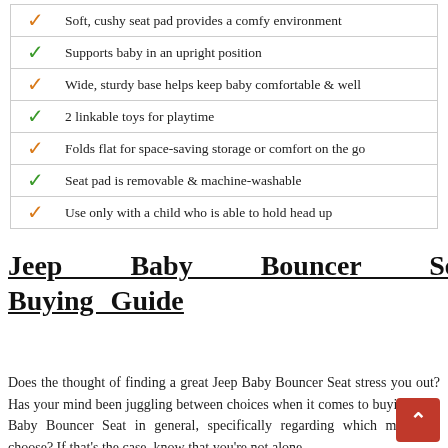Soft, cushy seat pad provides a comfy environment
Supports baby in an upright position
Wide, sturdy base helps keep baby comfortable & well
2 linkable toys for playtime
Folds flat for space-saving storage or comfort on the go
Seat pad is removable & machine-washable
Use only with a child who is able to hold head up
Jeep Baby Bouncer Seat Buying Guide
Does the thought of finding a great Jeep Baby Bouncer Seat stress you out? Has your mind been juggling between choices when it comes to buying Jeep Baby Bouncer Seat in general, specifically regarding which model to choose? If that's the case, know that you're not alone.